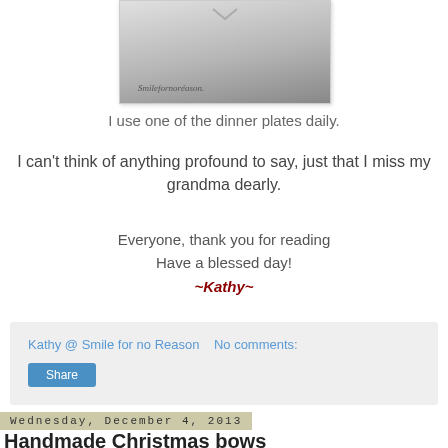[Figure (photo): A photo of a ceramic dinner plate with a heart design and the watermark text 'Smilefornoréason']
I use one of the dinner plates daily.
I can't think of anything profound to say, just that I miss my grandma dearly.
Everyone, thank you for reading
Have a blessed day!
~Kathy~
Kathy @ Smile for no Reason    No comments:
Share
Wednesday, December 4, 2013
Handmade Christmas bows